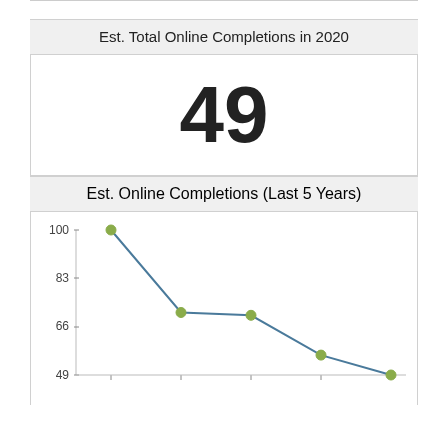Est. Total Online Completions in 2020
49
Est. Online Completions (Last 5 Years)
[Figure (line-chart): Est. Online Completions (Last 5 Years)]